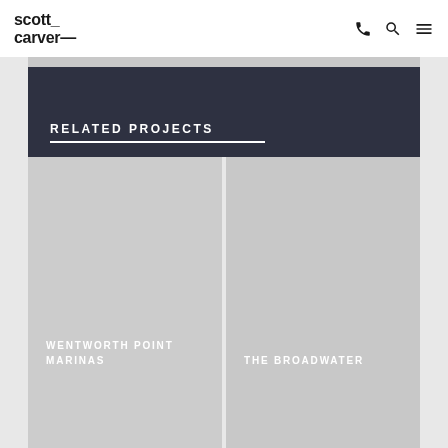scott carver — logo and navigation
RELATED PROJECTS
WENTWORTH POINT MARINAS
THE BROADWATER